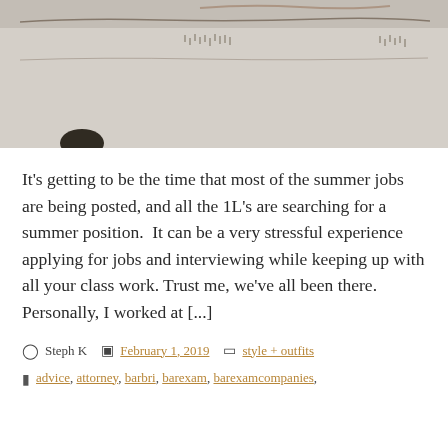[Figure (photo): Close-up photo of a white painted brick or concrete wall with cracks and texture, a dark circular object visible at the bottom left.]
It's getting to be the time that most of the summer jobs are being posted, and all the 1L's are searching for a summer position.  It can be a very stressful experience applying for jobs and interviewing while keeping up with all your class work. Trust me, we've all been there. Personally, I worked at [...]
Steph K   February 1, 2019   style + outfits
advice, attorney, barbri, barexam, barexamcompanies,